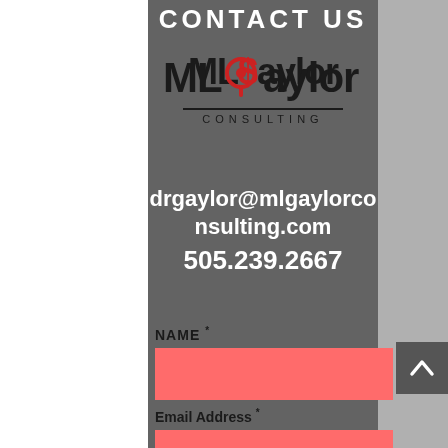CONTACT US
[Figure (logo): MLGaylor Consulting logo with red G symbol and horizontal rule above CONSULTING text]
drgaylor@mlgaylorconsulting.com
505.239.2667
NAME *
Email Address *